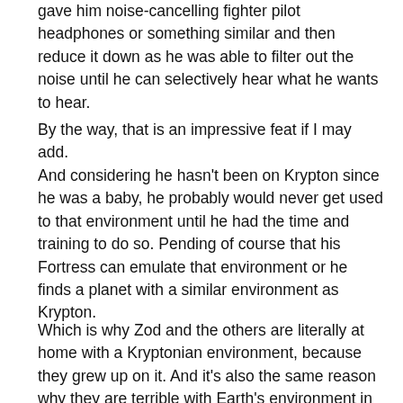gave him noise-cancelling fighter pilot headphones or something similar and then reduce it down as he was able to filter out the noise until he can selectively hear what he wants to hear.
By the way, that is an impressive feat if I may add.
And considering he hasn't been on Krypton since he was a baby, he probably would never get used to that environment until he had the time and training to do so. Pending of course that his Fortress can emulate that environment or he finds a planet with a similar environment as Krypton.
Which is why Zod and the others are literally at home with a Kryptonian environment, because they grew up on it. And it's also the same reason why they are terrible with Earth's environment in addition to the yellow sun fueling their abilities. They simply did not have the time or training to